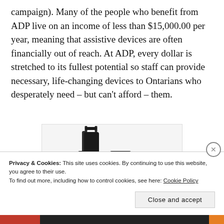campaign). Many of the people who benefit from ADP live on an income of less than $15,000.00 per year, meaning that assistive devices are often financially out of reach. At ADP, every dollar is stretched to its fullest potential so staff can provide necessary, life-changing devices to Ontarians who desperately need – but can't afford – them.
[Figure (photo): A black manual wheelchair photographed from the side/rear angle against a white background, showing the seat, armrests, footrests and frame.]
Privacy & Cookies: This site uses cookies. By continuing to use this website, you agree to their use.
To find out more, including how to control cookies, see here: Cookie Policy
Close and accept